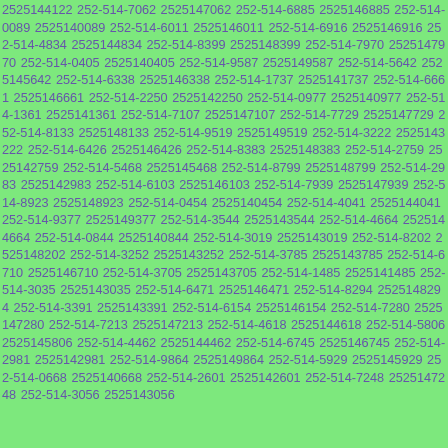2525144122 252-514-7062 2525147062 252-514-6885 2525146885 252-514-0089 2525140089 252-514-6011 2525146011 252-514-6916 2525146916 252-514-4834 2525144834 252-514-8399 2525148399 252-514-7970 2525147970 252-514-0405 2525140405 252-514-9587 2525149587 252-514-5642 2525145642 252-514-6338 2525146338 252-514-1737 2525141737 252-514-6661 2525146661 252-514-2250 2525142250 252-514-0977 2525140977 252-514-1361 2525141361 252-514-7107 2525147107 252-514-7729 2525147729 252-514-8133 2525148133 252-514-9519 2525149519 252-514-3222 2525143222 252-514-6426 2525146426 252-514-8383 2525148383 252-514-2759 2525142759 252-514-5468 2525145468 252-514-8799 2525148799 252-514-2983 2525142983 252-514-6103 2525146103 252-514-7939 2525147939 252-514-8923 2525148923 252-514-0454 2525140454 252-514-4041 2525144041 252-514-9377 2525149377 252-514-3544 2525143544 252-514-4664 2525144664 252-514-0844 2525140844 252-514-3019 2525143019 252-514-8202 2525148202 252-514-3252 2525143252 252-514-3785 2525143785 252-514-6710 2525146710 252-514-3705 2525143705 252-514-1485 2525141485 252-514-3035 2525143035 252-514-6471 2525146471 252-514-8294 2525148294 252-514-3391 2525143391 252-514-6154 2525146154 252-514-7280 2525147280 252-514-7213 2525147213 252-514-4618 2525144618 252-514-5806 2525145806 252-514-4462 2525144462 252-514-6745 2525146745 252-514-2981 2525142981 252-514-9864 2525149864 252-514-5929 2525145929 252-514-0668 2525140668 252-514-2601 2525142601 252-514-7248 2525147248 252-514-3056 2525143056